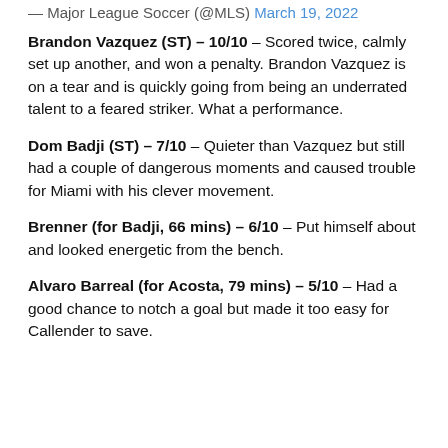— Major League Soccer (@MLS) March 19, 2022
Brandon Vazquez (ST) – 10/10 – Scored twice, calmly set up another, and won a penalty. Brandon Vazquez is on a tear and is quickly going from being an underrated talent to a feared striker. What a performance.
Dom Badji (ST) – 7/10 – Quieter than Vazquez but still had a couple of dangerous moments and caused trouble for Miami with his clever movement.
Brenner (for Badji, 66 mins) – 6/10 – Put himself about and looked energetic from the bench.
Alvaro Barreal (for Acosta, 79 mins) – 5/10 – Had a good chance to notch a goal but made it too easy for Callender to save.